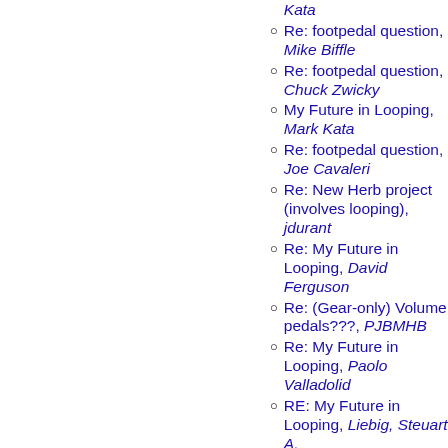EH Super Replay, Mark Kata
Re: footpedal question, Mike Biffle
Re: footpedal question, Chuck Zwicky
My Future in Looping, Mark Kata
Re: footpedal question, Joe Cavaleri
Re: New Herb project (involves looping), jdurant
Re: My Future in Looping, David Ferguson
Re: (Gear-only) Volume pedals???, PJBMHB
Re: My Future in Looping, Paolo Valladolid
RE: My Future in Looping, Liebig, Steuart A.